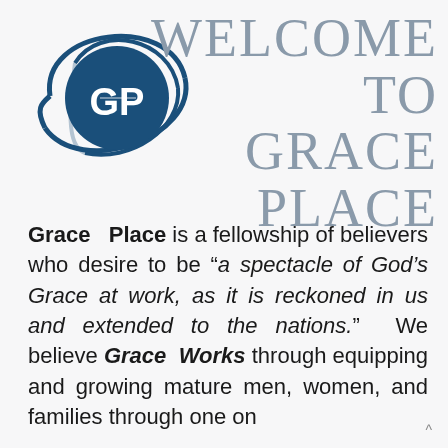[Figure (logo): Grace Place church logo: circular design with 'GP' letters in dark blue with orbital/arc lines around it]
WELCOME TO GRACE PLACE
Grace Place is a fellowship of believers who desire to be “a spectacle of God’s Grace at work, as it is reckoned in us and extended to the nations.” We believe Grace Works through equipping and growing mature men, women, and families through one on